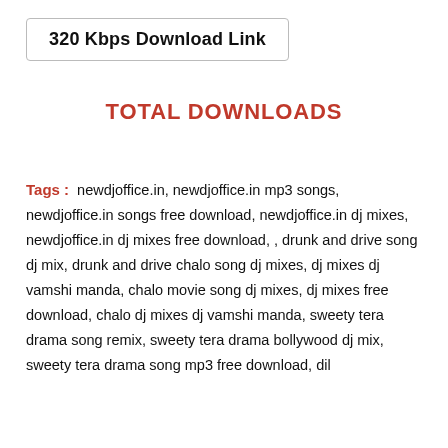320 Kbps Download Link
TOTAL DOWNLOADS
Tags : newdjoffice.in, newdjoffice.in mp3 songs, newdjoffice.in songs free download, newdjoffice.in dj mixes, newdjoffice.in dj mixes free download, , drunk and drive song dj mix, drunk and drive chalo song dj mixes, dj mixes dj vamshi manda, chalo movie song dj mixes, dj mixes free download, chalo dj mixes dj vamshi manda, sweety tera drama song remix, sweety tera drama bollywood dj mix, sweety tera drama song mp3 free download, dil